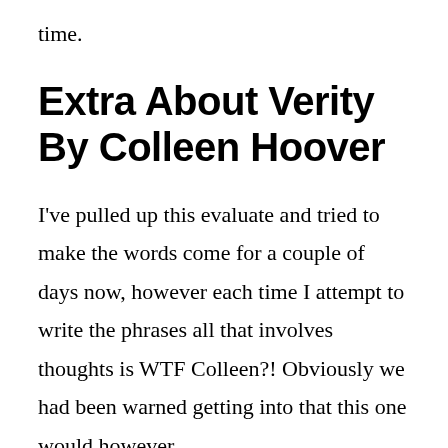time.
Extra About Verity By Colleen Hoover
I've pulled up this evaluate and tried to make the words come for a couple of days now, however each time I attempt to write the phrases all that involves thoughts is WTF Colleen?! Obviously we had been warned getting into that this one would however